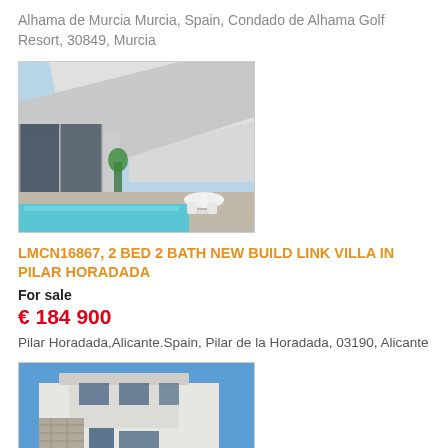Alhama de Murcia Murcia, Spain, Condado de Alhama Golf Resort, 30849, Murcia
[Figure (photo): Modern villa with pool and outdoor seating area, large glass sliding doors]
LMCN16867, 2 BED 2 BATH NEW BUILD LINK VILLA IN PILAR HORADADA
For sale
€ 184 900
Pilar Horadada,Alicante.Spain, Pilar de la Horadada, 03190, Alicante
[Figure (photo): Modern white two-storey villa exterior with stone cladding]